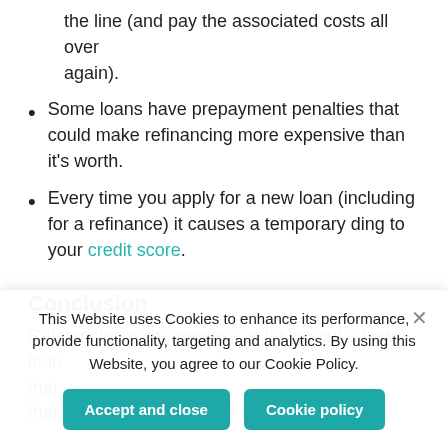the line (and pay the associated costs all over again).
Some loans have prepayment penalties that could make refinancing more expensive than it's worth.
Every time you apply for a new loan (including for a refinance) it causes a temporary ding to your credit score.
Conclusion
Refinancing is the process of taking out a new loan that…
This Website uses Cookies to enhance its performance, provide functionality, targeting and analytics. By using this Website, you agree to our Cookie Policy.